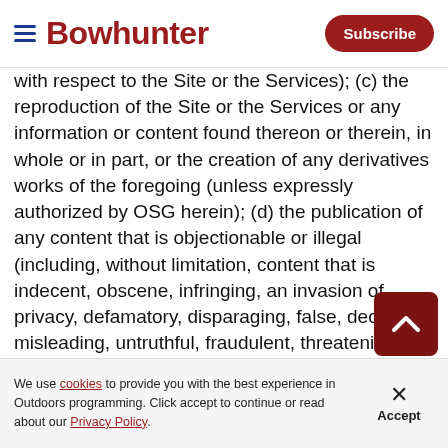Bowhunter | Subscribe
with respect to the Site or the Services); (c) the reproduction of the Site or the Services or any information or content found thereon or therein, in whole or in part, or the creation of any derivatives works of the foregoing (unless expressly authorized by OSG herein); (d) the publication of any content that is objectionable or illegal (including, without limitation, content that is indecent, obscene, infringing, an invasion of privacy, defamatory, disparaging, false, deceptive, misleading, untruthful, fraudulent, threatening or abusive); (e) the publication of a person's or entity's personal information o
We use cookies to provide you with the best experience in Outdoors programming. Click accept to continue or read about our Privacy Policy.